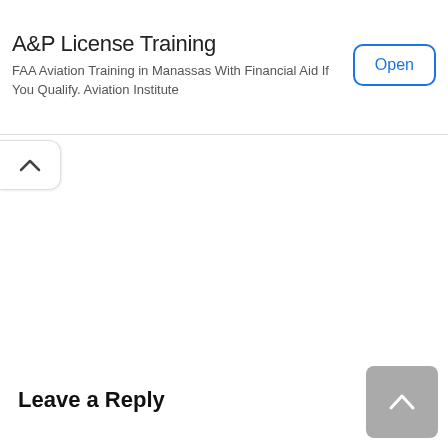A&P License Training
FAA Aviation Training in Manassas With Financial Aid If You Qualify. Aviation Institute
[Figure (screenshot): Open button with blue border and blue text, rounded rectangle style]
[Figure (screenshot): Collapse/chevron up tab button on left side]
Leave a Reply
[Figure (screenshot): Grey scroll-to-top button with upward chevron, bottom right corner]